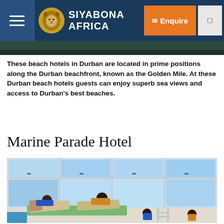SIYABONA AFRICA
[Figure (photo): Thin image strip at top, dark green landscape aerial photo]
These beach hotels in Durban are located in prime positions along the Durban beachfront, known as the Golden Mile. At these Durban beach hotels guests can enjoy superb sea views and access to Durban's best beaches.
Marine Parade Hotel
[Figure (photo): Family relaxing on sun loungers on a rooftop terrace with large glass windows and ocean/city view behind them, children by a pool railing]